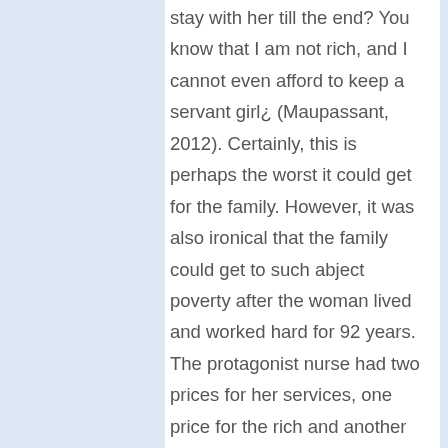stay with her till the end? You know that I am not rich, and I cannot even afford to keep a servant girl¿ (Maupassant, 2012). Certainly, this is perhaps the worst it could get for the family. However, it was also ironical that the family could get to such abject poverty after the woman lived and worked hard for 92 years. The protagonist nurse had two prices for her services, one price for the rich and another for the poor. She actually declined to set the price for the service until she saw the ailing woman, which further develops theme of poverty. The